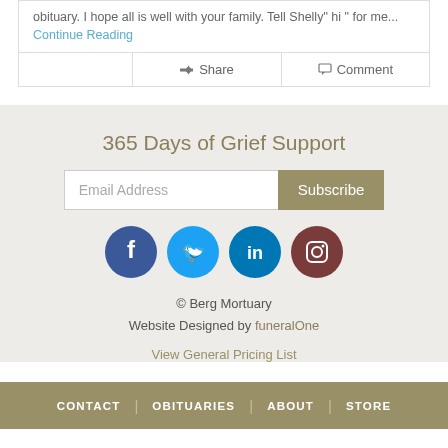obituary. I hope all is well with your family. Tell Shelly" hi " for me... Continue Reading
Share   Comment
365 Days of Grief Support
Email Address  Subscribe
[Figure (illustration): Social media icons: Facebook, Twitter, LinkedIn, Instagram]
© Berg Mortuary
Website Designed by funeralOne
View General Pricing List
CONTACT | OBITUARIES | ABOUT | STORE